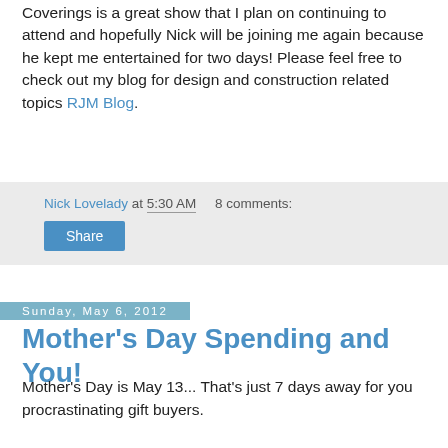Coverings is a great show that I plan on continuing to attend and hopefully Nick will be joining me again because he kept me entertained for two days! Please feel free to check out my blog for design and construction related topics RJM Blog.
Nick Lovelady at 5:30 AM   8 comments:
Share
Sunday, May 6, 2012
Mother's Day Spending and You!
Mother's Day is May 13... That's just 7 days away for you procrastinating gift buyers.
Hopefully my Mom won't actually read this because she's not getting anywhere near the national average spent on the holiday. Holy smokes, that'd be lots of pasta sauce and magic erasers. Sheesh. I just ruined my gift.
Take a look at how spending goes for this grand holiday for